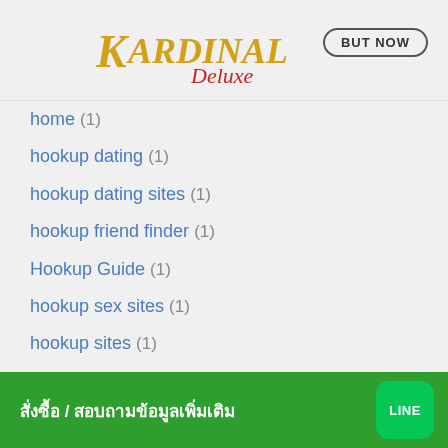Kardinal Deluxe — BUT NOW
home (1)
hookup dating (1)
hookup dating sites (1)
hookup friend finder (1)
Hookup Guide (1)
hookup sex sites (1)
hookup sites (1)
hookup websites (1)
hot women (1)
Hottest Mail Order Brides (1)
[Figure (infographic): Green banner with Thai text 'สั่งซื้อ / สอบถามข้อมูลเพิ่มเติม' and LINE logo icon on the right]